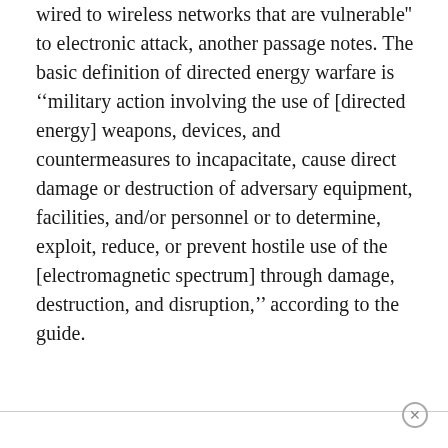wired to wireless networks that are vulnerable'' to electronic attack, another passage notes. The basic definition of directed energy warfare is ''military action involving the use of [directed energy] weapons, devices, and countermeasures to incapacitate, cause direct damage or destruction of adversary equipment, facilities, and/or personnel or to determine, exploit, reduce, or prevent hostile use of the [electromagnetic spectrum] through damage, destruction, and disruption,'' according to the guide.